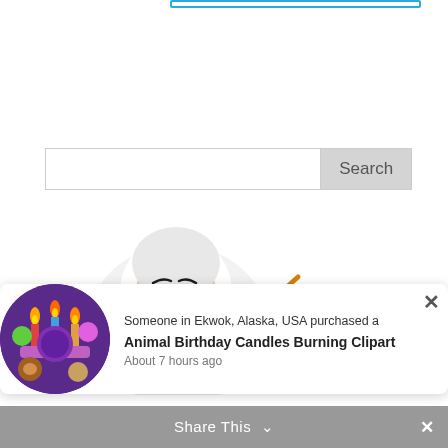[Figure (screenshot): Blue-bordered search input bar at top of page]
[Figure (screenshot): Search bar with text input and Search button]
[Figure (illustration): Cartoon illustrated woman with white hair, pearls, red lips, holding a paintbrush/pen, teacher-like figure]
[Figure (screenshot): Gray scroll-to-top button with upward chevron arrow]
[Figure (screenshot): Notification popup: circular clipart thumbnail image of Animal Birthday Candles Burning Clipart, with text 'Someone in Ekwok, Alaska, USA purchased a' and 'Animal Birthday Candles Burning Clipart' and 'About 7 hours ago', with X close button]
Someone in Ekwok, Alaska, USA purchased a
Animal Birthday Candles Burning Clipart
About 7 hours ago
Share This